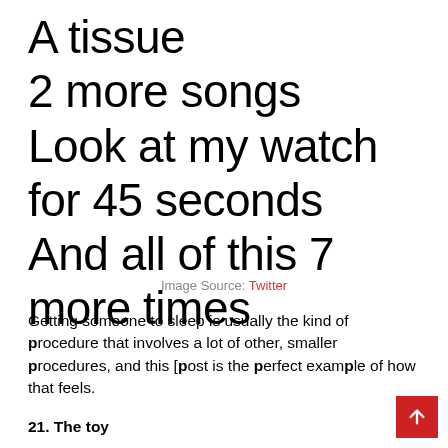A tissue
2 more songs
Look at my watch for 45 seconds
And all of this 7 more times
Image Source: Twitter
Getting someone to sleep is usually the kind of procedure that involves a lot of other, smaller procedures, and this [post is the perfect example of how that feels.
21. The toy